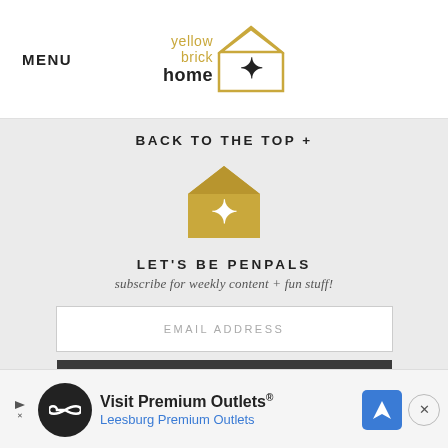MENU | yellow brick home logo
BACK TO THE TOP +
[Figure (logo): Yellow brick home house icon in gold color with a star in the center]
LET'S BE PENPALS
subscribe for weekly content + fun stuff!
EMAIL ADDRESS
SUBSCRIBE
[Figure (other): Advertisement banner for Visit Premium Outlets - Leesburg Premium Outlets]